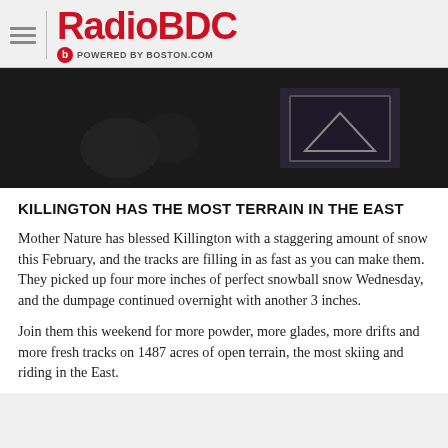RadioBDC POWERED BY BOSTON.COM
[Figure (photo): Dark hero image with a faint mountain/landscape scene, mostly dark background with a picture frame visible on the right side]
KILLINGTON HAS THE MOST TERRAIN IN THE EAST
Mother Nature has blessed Killington with a staggering amount of snow this February, and the tracks are filling in as fast as you can make them. They picked up four more inches of perfect snowball snow Wednesday, and the dumpage continued overnight with another 3 inches.
Join them this weekend for more powder, more glades, more drifts and more fresh tracks on 1487 acres of open terrain, the most skiing and riding in the East.